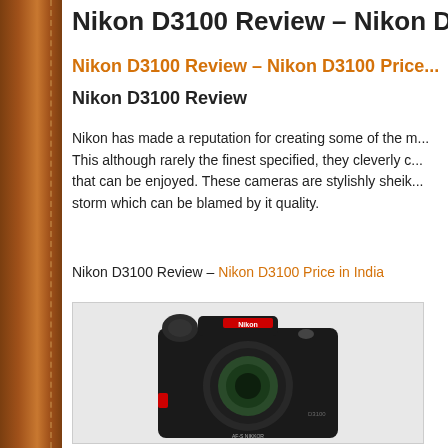Nikon D3100 Review – Nikon D3...
Nikon D3100 Review – Nikon D3100 Price...
Nikon D3100 Review
Nikon has made a reputation for creating some of the m... This although rarely the finest specified, they cleverly c... that can be enjoyed. These cameras are stylishly sheik... storm which can be blamed by it quality.
Nikon D3100 Review – Nikon D3100 Price in India
[Figure (photo): Front-facing photo of a Nikon D3100 DSLR camera with lens attached, shown against a white/light grey background inside a bordered box.]